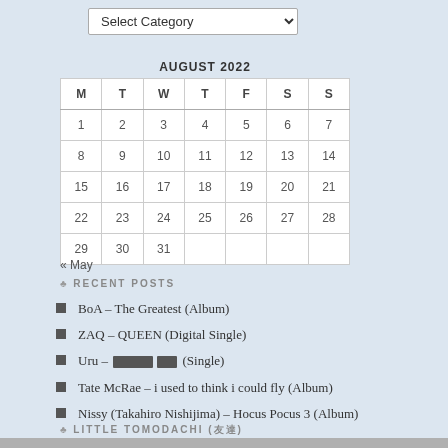[Figure (screenshot): Dropdown select input labeled 'Select Category' with a chevron arrow]
AUGUST 2022
| M | T | W | T | F | S | S |
| --- | --- | --- | --- | --- | --- | --- |
| 1 | 2 | 3 | 4 | 5 | 6 | 7 |
| 8 | 9 | 10 | 11 | 12 | 13 | 14 |
| 15 | 16 | 17 | 18 | 19 | 20 | 21 |
| 22 | 23 | 24 | 25 | 26 | 27 | 28 |
| 29 | 30 | 31 |  |  |  |  |
« May
RECENT POSTS
BoA – The Greatest (Album)
ZAQ – QUEEN (Digital Single)
Uru – [redacted] (Single)
Tate McRae – i used to think i could fly (Album)
Nissy (Takahiro Nishijima) – Hocus Pocus 3 (Album)
LITTLE TOMODACHI (友達)